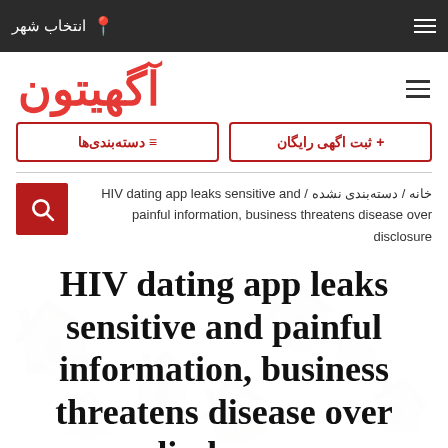انتخاب شهر
[Figure (logo): آگهیتون website logo in red Persian/Arabic script]
+ ثبت اگهی رایگان
≡ دسته‌بندی‌ها
خانه / دسته‌بندی نشده / HIV dating app leaks sensitive and painful information, business threatens disease over disclosure
HIV dating app leaks sensitive and painful information, business threatens disease over disclosure